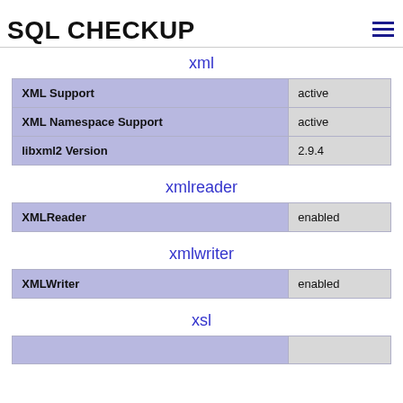Tokenizer Support | enabled
SQL CHECKUP
xml
|  |  |
| --- | --- |
| XML Support | active |
| XML Namespace Support | active |
| libxml2 Version | 2.9.4 |
xmlreader
|  |  |
| --- | --- |
| XMLReader | enabled |
xmlwriter
|  |  |
| --- | --- |
| XMLWriter | enabled |
xsl
|  |  |
| --- | --- |